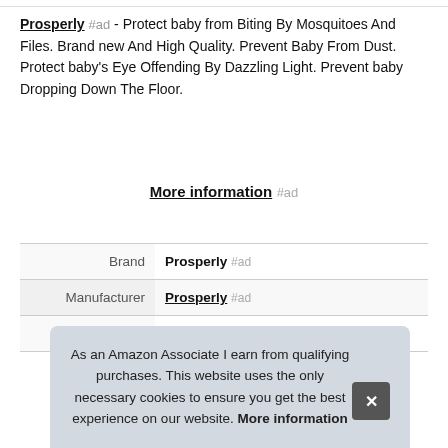Prosperly #ad - Protect baby from Biting By Mosquitoes And Files. Brand new And High Quality. Prevent Baby From Dust. Protect baby's Eye Offending By Dazzling Light. Prevent baby Dropping Down The Floor.
More information #ad
| Brand | Prosperly #ad |
| Manufacturer | Prosperly #ad |
| Part Number | Does Not Apply |
As an Amazon Associate I earn from qualifying purchases. This website uses the only necessary cookies to ensure you get the best experience on our website. More information